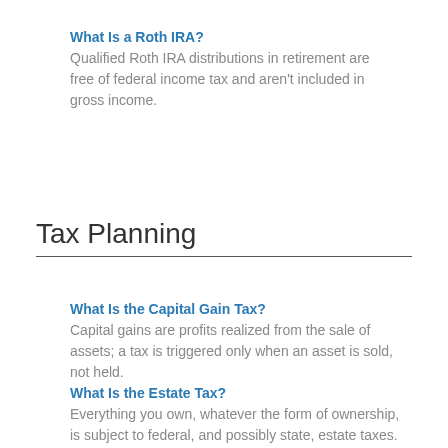What Is a Roth IRA?
Qualified Roth IRA distributions in retirement are free of federal income tax and aren't included in gross income.
Tax Planning
What Is the Capital Gain Tax?
Capital gains are profits realized from the sale of assets; a tax is triggered only when an asset is sold, not held.
What Is the Estate Tax?
Everything you own, whatever the form of ownership, is subject to federal, and possibly state, estate taxes.